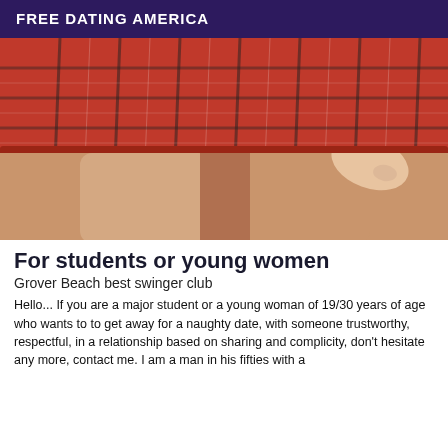FREE DATING AMERICA
[Figure (photo): Photo showing lower body of a person wearing a red plaid mini skirt, with legs visible below]
For students or young women
Grover Beach best swinger club
Hello... If you are a major student or a young woman of 19/30 years of age who wants to to get away for a naughty date, with someone trustworthy, respectful, in a relationship based on sharing and complicity, don't hesitate any more, contact me. I am a man in his fifties with a